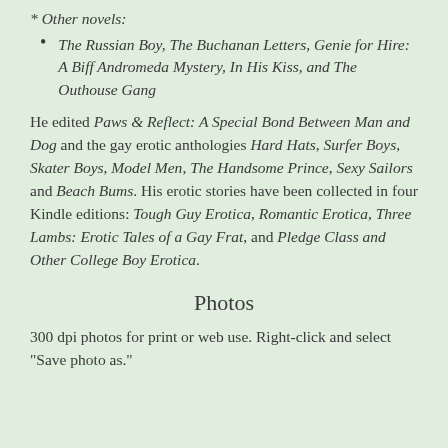* Other novels:
The Russian Boy, The Buchanan Letters, Genie for Hire: A Biff Andromeda Mystery, In His Kiss, and The Outhouse Gang
He edited Paws & Reflect: A Special Bond Between Man and Dog and the gay erotic anthologies Hard Hats, Surfer Boys, Skater Boys, Model Men, The Handsome Prince, Sexy Sailors and Beach Bums. His erotic stories have been collected in four Kindle editions: Tough Guy Erotica, Romantic Erotica, Three Lambs: Erotic Tales of a Gay Frat, and Pledge Class and Other College Boy Erotica.
Photos
300 dpi photos for print or web use. Right-click and select "Save photo as."